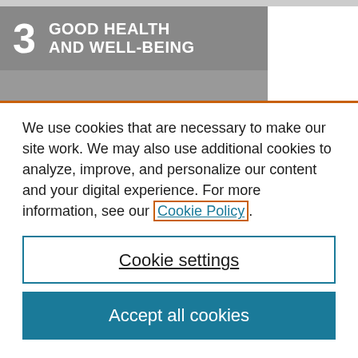[Figure (logo): SDG Goal 3 banner: large number '3' with text 'GOOD HEALTH AND WELL-BEING' on a gray background]
We use cookies that are necessary to make our site work. We may also use additional cookies to analyze, improve, and personalize our content and your digital experience. For more information, see our Cookie Policy.
Cookie settings
Accept all cookies